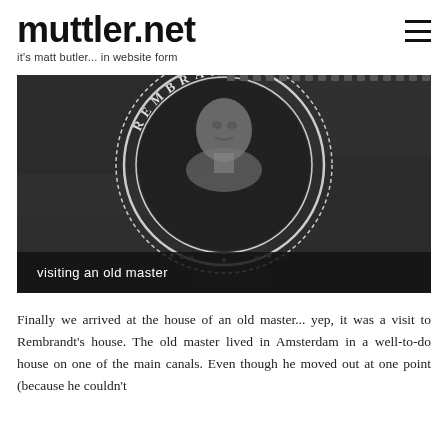muttler.net
it's matt butler... in website form
[Figure (photo): Black and white close-up photograph of a circular Rembrandt seal/stamp showing a portrait medallion with text 'REMBRANDT' around the border]
visiting an old master
Finally we arrived at the house of an old master... yep, it was a visit to Rembrandt's house. The old master lived in Amsterdam in a well-to-do house on one of the main canals. Even though he moved out at one point (because he couldn't